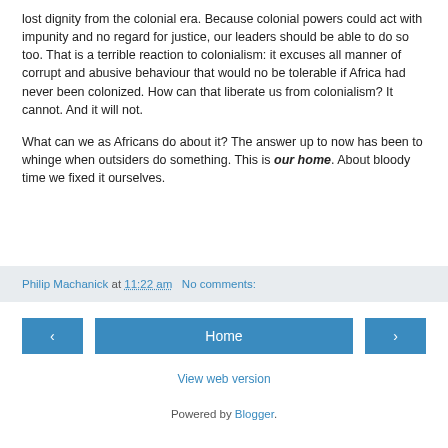lost dignity from the colonial era. Because colonial powers could act with impunity and no regard for justice, our leaders should be able to do so too. That is a terrible reaction to colonialism: it excuses all manner of corrupt and abusive behaviour that would no be tolerable if Africa had never been colonized. How can that liberate us from colonialism? It cannot. And it will not.
What can we as Africans do about it? The answer up to now has been to whinge when outsiders do something. This is our home. About bloody time we fixed it ourselves.
Philip Machanick at 11:22 am   No comments:
< Home >
View web version
Powered by Blogger.